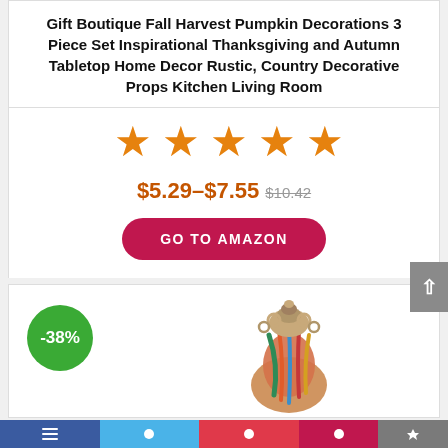Gift Boutique Fall Harvest Pumpkin Decorations 3 Piece Set Inspirational Thanksgiving and Autumn Tabletop Home Decor Rustic, Country Decorative Props Kitchen Living Room
[Figure (other): Five orange star rating icons]
$5.29–$7.55 $10.42
GO TO AMAZON
[Figure (photo): Product image of a colorful decorative figurine with a -38% discount badge]
Social share bar at the bottom